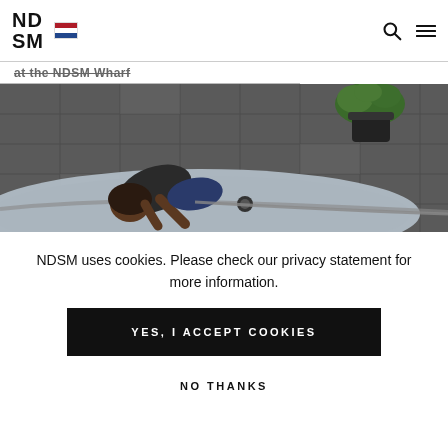NDSM
at the NDSM Wharf
[Figure (photo): Overhead view of a person on a yoga mat on an outdoor tiled surface, with a potted plant nearby]
NDSM uses cookies. Please check our privacy statement for more information.
YES, I ACCEPT COOKIES
NO THANKS